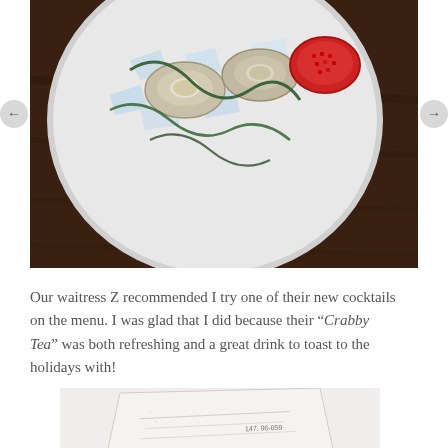[Figure (photo): Overhead photo of oysters on ice with seaweed on a white round plate, and a small red dish of pomegranate seeds, on a dark wood table surface.]
Our waitress Z recommended I try one of their new cocktails on the menu. I was glad that I did because their "Crabby Tea" was both refreshing and a great drink to toast to the holidays with!
[Figure (photo): Partial view of a paper menu or receipt at an angle on a light surface.]